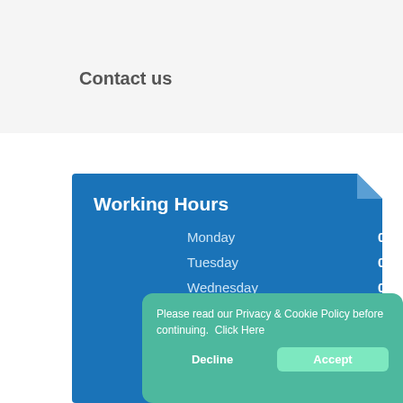Contact us
Working Hours
| Day | Hours |
| --- | --- |
| Monday | 08:00 - 18:00 |
| Tuesday | 08:00 - 18:00 |
| Wednesday | 08:00 - 18:00 |
| Thursday | 08:00 - 18:00 |
| Friday |  |
| Saturday |  |
Please read our Privacy & Cookie Policy before continuing.  Click Here
Decline
Accept